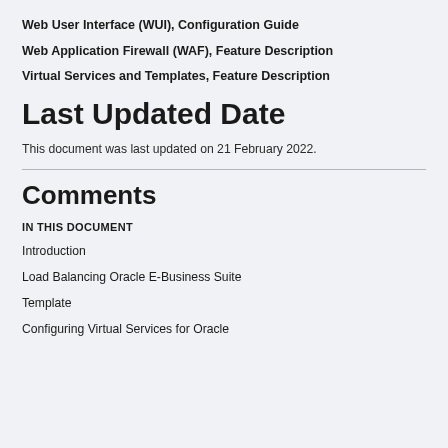Web User Interface (WUI), Configuration Guide
Web Application Firewall (WAF), Feature Description
Virtual Services and Templates, Feature Description
Last Updated Date
This document was last updated on 21 February 2022.
Comments
IN THIS DOCUMENT
Introduction
Load Balancing Oracle E-Business Suite
Template
Configuring Virtual Services for Oracle